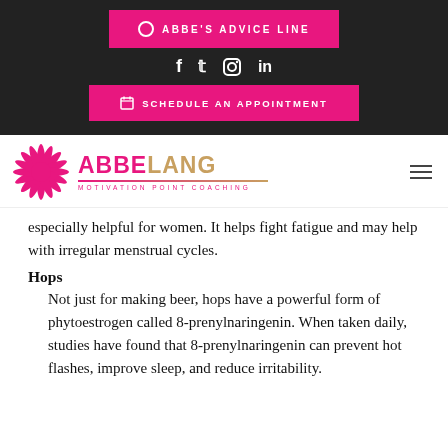[Figure (screenshot): Navigation bar with pink 'ABBE'S ADVICE LINE' button, social media icons (Facebook, Twitter, Instagram, LinkedIn), and pink 'SCHEDULE AN APPOINTMENT' button on dark background]
[Figure (logo): Abbe Lang Motivation Point Coaching logo with starburst icon and gradient text]
especially helpful for women. It helps fight fatigue and may help with irregular menstrual cycles.
Hops
Not just for making beer, hops have a powerful form of phytoestrogen called 8-prenylnaringenin. When taken daily, studies have found that 8-prenylnaringenin can prevent hot flashes, improve sleep, and reduce irritability.